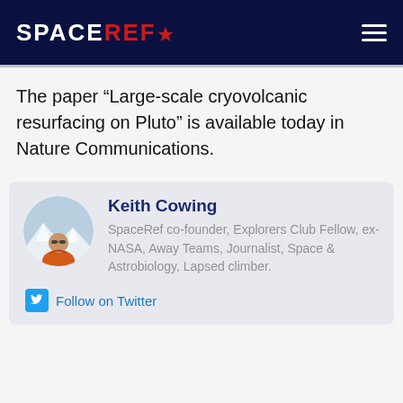SPACEREF*
The paper “Large-scale cryovolcanic resurfacing on Pluto” is available today in Nature Communications.
[Figure (photo): Circular profile photo of Keith Cowing wearing an orange jacket and sunglasses with snowy mountains in background]
Keith Cowing
SpaceRef co-founder, Explorers Club Fellow, ex-NASA, Away Teams, Journalist, Space & Astrobiology, Lapsed climber.
Follow on Twitter